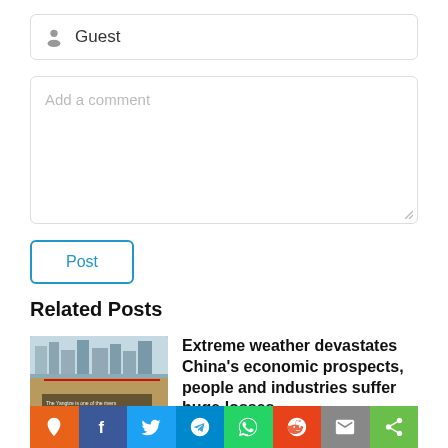Guest
Add a comment
Post
Related Posts
Extreme weather devastates China's economic prospects, people and industries suffer huge losses
[Figure (screenshot): Social sharing bar with icons: location pin (orange), Facebook (dark blue), Twitter (light blue), Telegram (blue), WhatsApp (green), Reddit (orange-red), Email (gray), Share (green)]